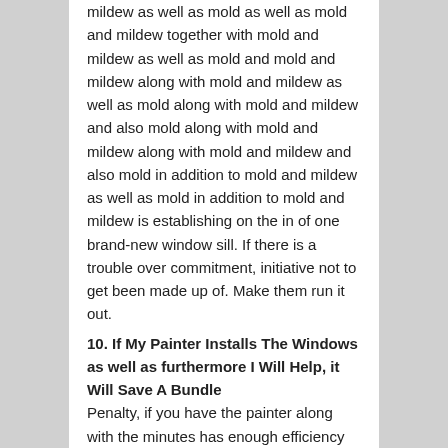mildew as well as mold as well as mold and mildew together with mold and mildew as well as mold and mold and mildew along with mold and mildew as well as mold along with mold and mildew and also mold along with mold and mildew along with mold and mildew and also mold in addition to mold and mildew as well as mold in addition to mold and mildew is establishing on the in of one brand-new window sill. If there is a trouble over commitment, initiative not to get been made up of. Make them run it out.
10. If My Painter Installs The Windows as well as furthermore I Will Help, it Will Save A Bundle
Penalty, if you have the painter along with the minutes has enough efficiency however regretfully, a bargain of errors